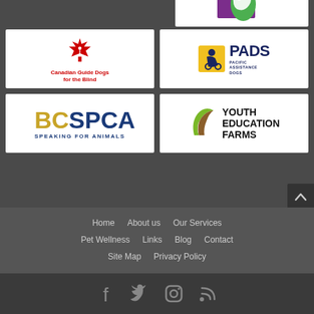[Figure (logo): Partial purple and green animal logo at top right]
[Figure (logo): Canadian Guide Dogs for the Blind logo with red maple leaf]
[Figure (logo): PADS Pacific Assistance Dogs logo with yellow icon box]
[Figure (logo): BC SPCA Speaking for Animals logo]
[Figure (logo): Youth Education Farms logo with green/brown arc icon]
Home   About us   Our Services   Pet Wellness   Links   Blog   Contact   Site Map   Privacy Policy
[Figure (other): Social media icons: Facebook, Twitter, Instagram, RSS feed]